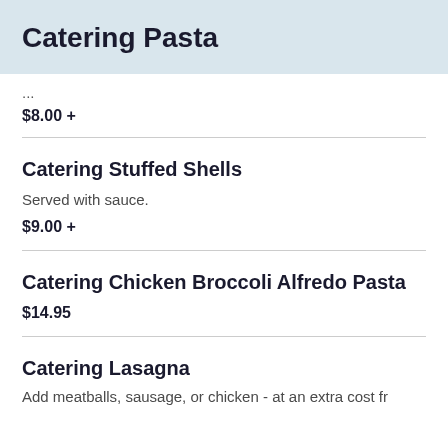Catering Pasta
...
$8.00 +
Catering Stuffed Shells
Served with sauce.
$9.00 +
Catering Chicken Broccoli Alfredo Pasta
$14.95
Catering Lasagna
Add meatballs, sausage, or chicken - at an extra cost from...